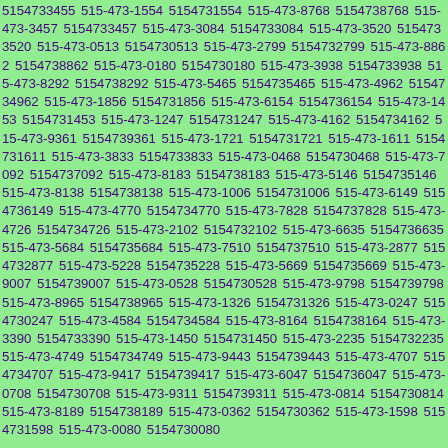5154733455 515-473-1554 5154731554 515-473-8768 5154738768 515-473-3457 5154733457 515-473-3084 5154733084 515-473-3520 5154733520 515-473-0513 5154730513 515-473-2799 5154732799 515-473-8862 5154738862 515-473-0180 5154730180 515-473-3938 5154733938 515-473-8292 5154738292 515-473-5465 5154735465 515-473-4962 5154734962 515-473-1856 5154731856 515-473-6154 5154736154 515-473-1453 5154731453 515-473-1247 5154731247 515-473-4162 5154734162 515-473-9361 5154739361 515-473-1721 5154731721 515-473-1611 5154731611 515-473-3833 5154733833 515-473-0468 5154730468 515-473-7092 5154737092 515-473-8183 5154738183 515-473-5146 5154735146 515-473-8138 5154738138 515-473-1006 5154731006 515-473-6149 5154736149 515-473-4770 5154734770 515-473-7828 5154737828 515-473-4726 5154734726 515-473-2102 5154732102 515-473-6635 5154736635 515-473-5684 5154735684 515-473-7510 5154737510 515-473-2877 5154732877 515-473-5228 5154735228 515-473-5669 5154735669 515-473-9007 5154739007 515-473-0528 5154730528 515-473-9798 5154739798 515-473-8965 5154738965 515-473-1326 5154731326 515-473-0247 5154730247 515-473-4584 5154734584 515-473-8164 5154738164 515-473-3390 5154733390 515-473-1450 5154731450 515-473-2235 5154732235 515-473-4749 5154734749 515-473-9443 5154739443 515-473-4707 5154734707 515-473-9417 5154739417 515-473-6047 5154736047 515-473-0708 5154730708 515-473-9311 5154739311 515-473-0814 5154730814 515-473-8189 5154738189 515-473-0362 5154730362 515-473-1598 5154731598 515-473-0080 5154730080